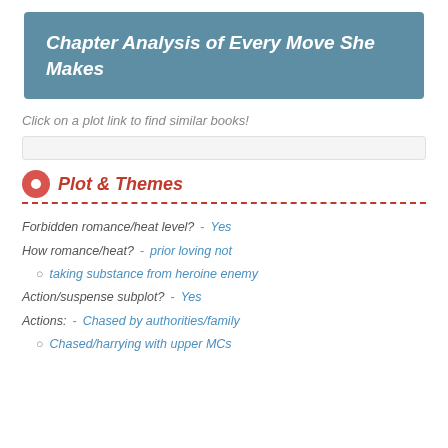Chapter Analysis of Every Move She Makes
Click on a plot link to find similar books!
Plot & Themes
Forbidden romance/heat level? - Yes
How romance/heat? - prior loving not
taking substance from heroine enemy
Action/suspense subplot? - Yes
Actions: - Chased by authorities/family
Chased/harrying with upper MCs